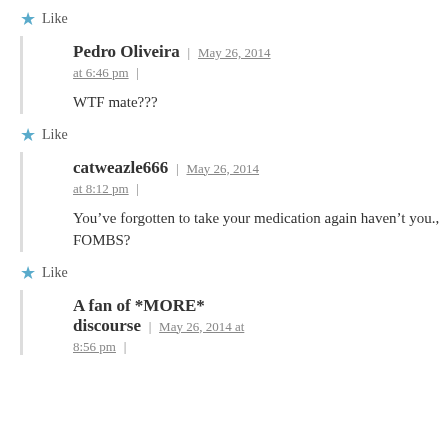Like
Pedro Oliveira | May 26, 2014 at 6:46 pm |
WTF mate???
Like
catweazle666 | May 26, 2014 at 8:12 pm |
You’ve forgotten to take your medication again haven’t you., FOMBS?
Like
A fan of *MORE* discourse | May 26, 2014 at 8:56 pm |